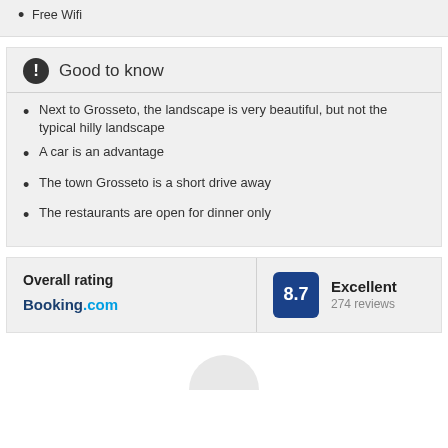Free Wifi
Good to know
Next to Grosseto, the landscape is very beautiful, but not the typical hilly landscape
A car is an advantage
The town Grosseto is a short drive away
The restaurants are open for dinner only
Overall rating
Booking.com
Excellent 274 reviews 8.7